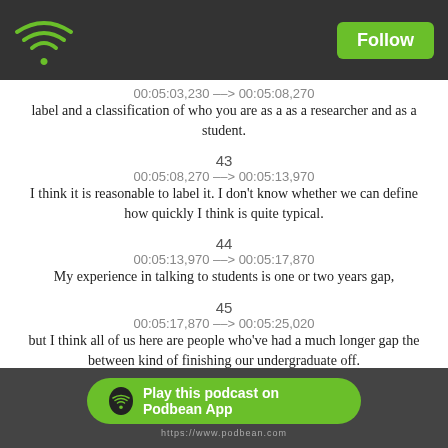Follow
00:05:03,230 --> 00:05:08,270
label and a classification of who you are as a as a researcher and as a student.
43
00:05:08,270 --> 00:05:13,970
I think it is reasonable to label it. I don't know whether we can define how quickly I think is quite typical.
44
00:05:13,970 --> 00:05:17,870
My experience in talking to students is one or two years gap,
45
00:05:17,870 --> 00:05:25,020
but I think all of us here are people who've had a much longer gap the between kind of finishing our undergraduate off.
Play this podcast on Podbean App